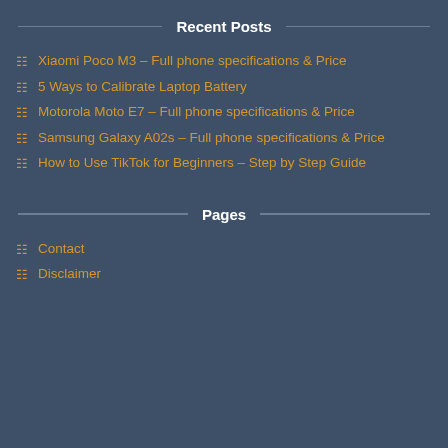Recent Posts
Xiaomi Poco M3 – Full phone specifications & Price
5 Ways to Calibrate Laptop Battery
Motorola Moto E7 – Full phone specifications & Price
Samsung Galaxy A02s – Full phone specifications & Price
How to Use TikTok for Beginners – Step by Step Guide
Pages
Contact
Disclaimer